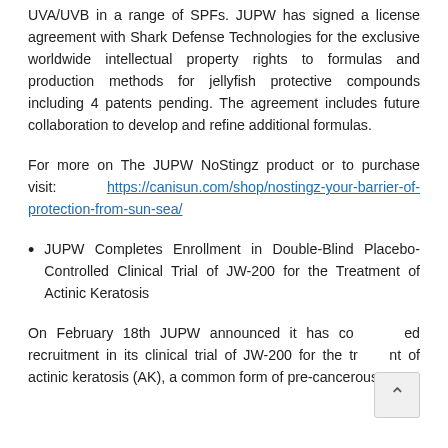UVA/UVB in a range of SPFs. JUPW has signed a license agreement with Shark Defense Technologies for the exclusive worldwide intellectual property rights to formulas and production methods for jellyfish protective compounds including 4 patents pending. The agreement includes future collaboration to develop and refine additional formulas.
For more on The JUPW NoStingz product or to purchase visit: https://canisun.com/shop/nostingz-your-barrier-of-protection-from-sun-sea/
JUPW Completes Enrollment in Double-Blind Placebo-Controlled Clinical Trial of JW-200 for the Treatment of Actinic Keratosis
On February 18th JUPW announced it has completed recruitment in its clinical trial of JW-200 for the treatment of actinic keratosis (AK), a common form of pre-cancerous